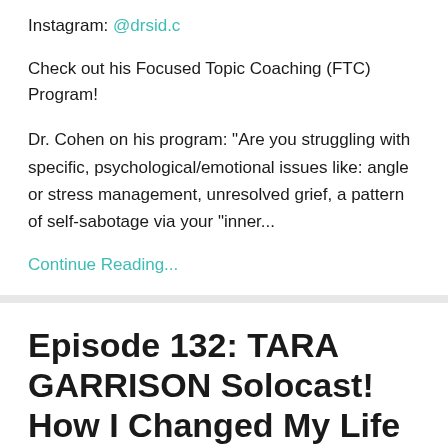Instagram: @drsid.c
Check out his Focused Topic Coaching (FTC) Program!
Dr. Cohen on his program: “Are you struggling with specific, psychological/emotional issues like: angle or stress management, unresolved grief, a pattern of self-sabotage via your "inner...
Continue Reading...
Episode 132: TARA GARRISON Solocast! How I Changed My Life